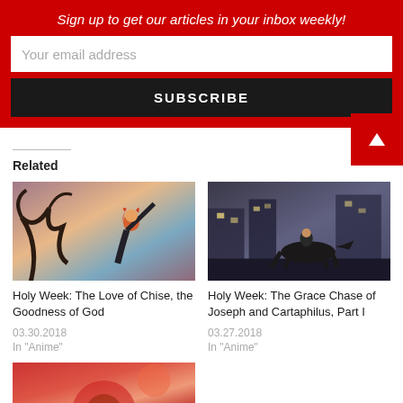Sign up to get our articles in your inbox weekly!
Your email address
SUBSCRIBE
Related
[Figure (photo): Anime character with red hair leaping among dark branches against a pink/orange sky]
Holy Week: The Love of Chise, the Goodness of God
03.30.2018
In "Anime"
[Figure (photo): Anime scene of a person on horseback galloping through a dark city street at night]
Holy Week: The Grace Chase of Joseph and Cartaphilus, Part I
03.27.2018
In "Anime"
[Figure (photo): Partially visible anime image at the bottom with red tones]